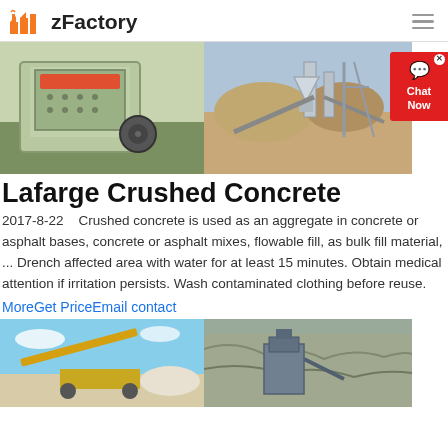zFactory
[Figure (photo): Two industrial crushing machines: left shows a green impact crusher in a factory setting; right shows a large outdoor mineral processing plant with conveyor belts and cone crushers on a rocky terrain.]
Lafarge Crushed Concrete
2017-8-22    Crushed concrete is used as an aggregate in concrete or asphalt bases, concrete or asphalt mixes, flowable fill, as bulk fill material, ... Drench affected area with water for at least 15 minutes. Obtain medical attention if irritation persists. Wash contaminated clothing before reuse.
MoreGet PriceEmail contact
[Figure (photo): Two photos of crushed concrete and stone operations: left shows a yellow excavator/conveyor system at an open mining site with blue sky; right shows heavy machinery against a rocky cliff face.]